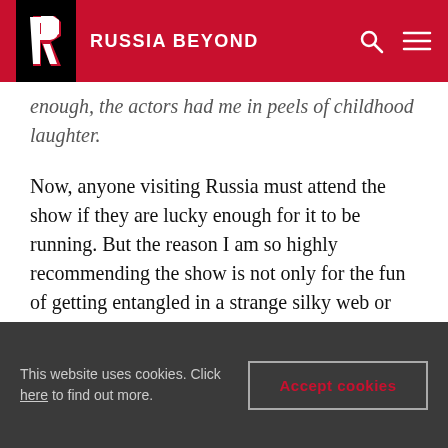RUSSIA BEYOND
enough, the actors had me in peels of childhood laughter.
Now, anyone visiting Russia must attend the show if they are lucky enough for it to be running. But the reason I am so highly recommending the show is not only for the fun of getting entangled in a strange silky web or water being sprinkled on you on a cold February evening, or massive rubber balls that come hopping on your head, or strange green men who could carry you off on to the stage and behind the curtains. No. There is much more to it.
This website uses cookies. Click here to find out more.
Accept cookies